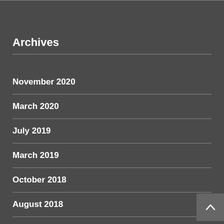Archives
November 2020
March 2020
July 2019
March 2019
October 2018
August 2018
June 2018
May 2018
March 2018
February 2018